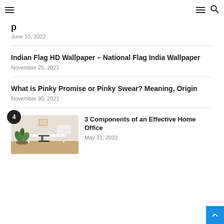Navigation header with hamburger menus and search icon
June 10, 2022
Indian Flag HD Wallpaper – National Flag India Wallpaper
November 25, 2021
What is Pinky Promise or Pinky Swear? Meaning, Origin
November 30, 2021
[Figure (photo): Home office room with white desk, chair, and potted plant, number 4 badge]
3 Components of an Effective Home Office
May 31, 2022